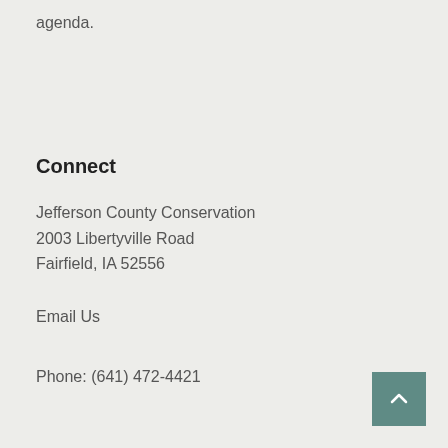agenda.
Connect
Jefferson County Conservation
2003 Libertyville Road
Fairfield, IA 52556
Email Us
Phone: (641) 472-4421